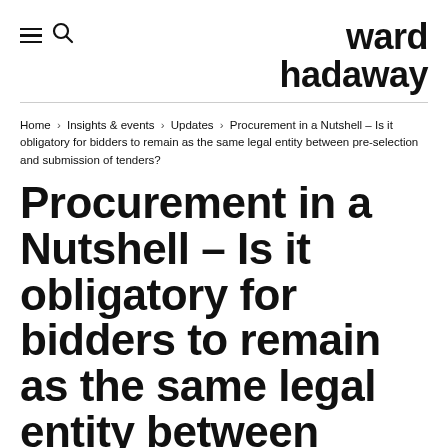ward hadaway
Home › Insights & events › Updates › Procurement in a Nutshell – Is it obligatory for bidders to remain as the same legal entity between pre-selection and submission of tenders?
Procurement in a Nutshell – Is it obligatory for bidders to remain as the same legal entity between